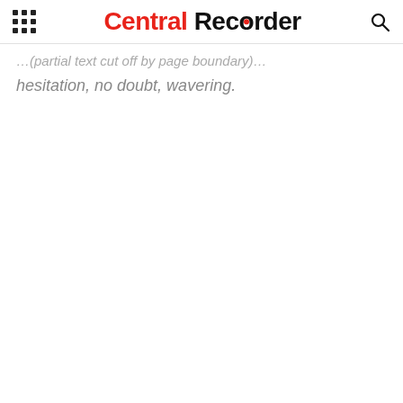Central Recorder
hesitation, no doubt, wavering.